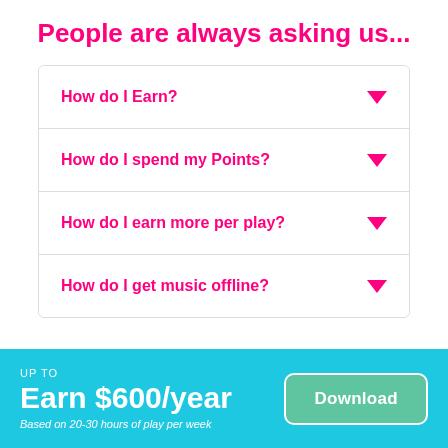People are always asking us...
How do I Earn?
How do I spend my Points?
How do I earn more per play?
How do I get music offline?
UP TO
Earn $600/year
Based on 20-30 hours of play per week
Download